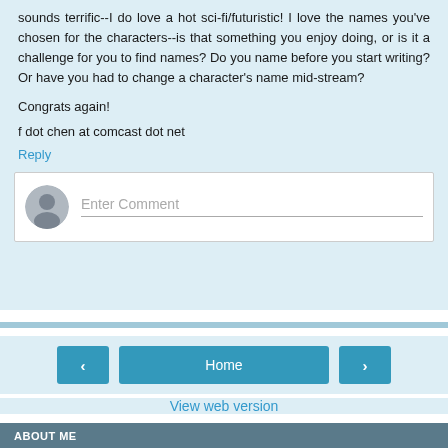sounds terrific--I do love a hot sci-fi/futuristic! I love the names you've chosen for the characters--is that something you enjoy doing, or is it a challenge for you to find names? Do you name before you start writing? Or have you had to change a character's name mid-stream?
Congrats again!
f dot chen at comcast dot net
Reply
Enter Comment
Home
View web version
ABOUT ME